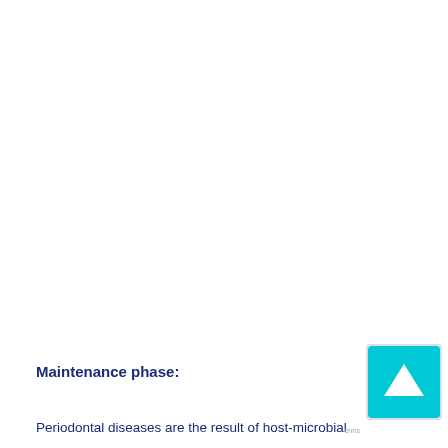Maintenance phase:
Periodontal diseases are the result of host-microbial